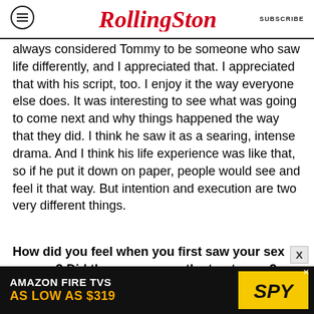Rolling Stone | SUBSCRIBE
always considered Tommy to be someone who saw life differently, and I appreciated that. I appreciated that with his script, too. I enjoy it the way everyone else does. It was interesting to see what was going to come next and why things happened the way that they did. I think he saw it as a searing, intense drama. And I think his life experience was like that, so if he put it down on paper, people would see and feel it that way. But intention and execution are two very different things.
How did you feel when you first saw your sex scenes? Did they seem over the top to you?
Well, at the premiere, I walked out before they
[Figure (other): Amazon Fire TVs advertisement banner: 'AMAZON FIRE TVS AS LOW AS $319' with SPY logo on black and yellow background]